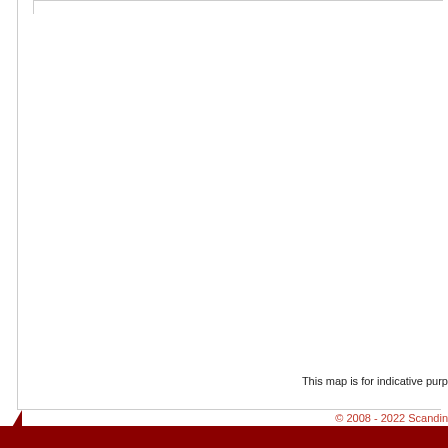[Figure (map): Mostly blank map area with a thin border box visible at top-left, part of a larger map that is cropped. The visible area is white/empty.]
This map is for indicative purp
© 2008 - 2022 Scandin